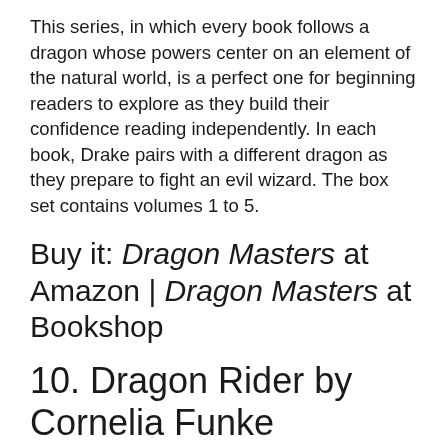This series, in which every book follows a dragon whose powers center on an element of the natural world, is a perfect one for beginning readers to explore as they build their confidence reading independently. In each book, Drake pairs with a different dragon as they prepare to fight an evil wizard. The box set contains volumes 1 to 5.
Buy it: Dragon Masters at Amazon | Dragon Masters at Bookshop
10. Dragon Rider by Cornelia Funke